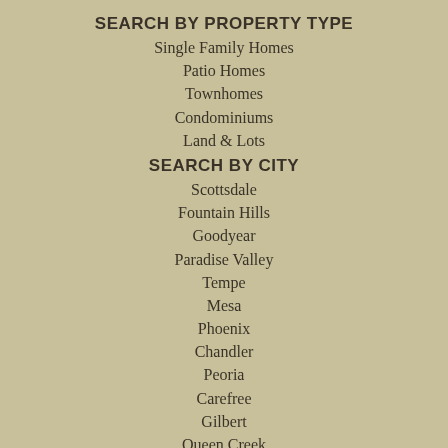SEARCH BY PROPERTY TYPE
Single Family Homes
Patio Homes
Townhomes
Condominiums
Land & Lots
SEARCH BY CITY
Scottsdale
Fountain Hills
Goodyear
Paradise Valley
Tempe
Mesa
Phoenix
Chandler
Peoria
Carefree
Gilbert
Queen Creek
Cave Creek
Anthem
Sun City
Rio Verde
Glendale